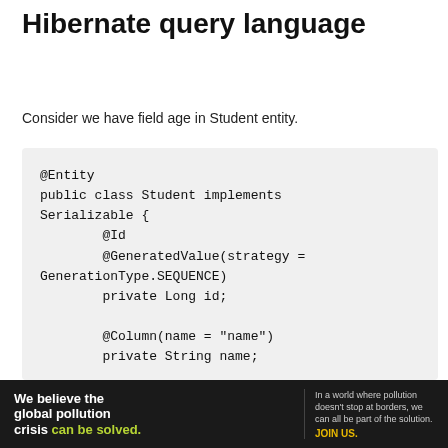Hibernate query language
Consider we have field age in Student entity.
@Entity
public class Student implements Serializable {
        @Id
        @GeneratedValue(strategy = GenerationType.SEQUENCE)
        private Long id;

        @Column(name = "name")
        private String name;
[Figure (other): Pure Earth advertisement banner: 'We believe the global pollution crisis can be solved.' with tagline about world pollution and JOIN US call to action, featuring Pure Earth logo.]